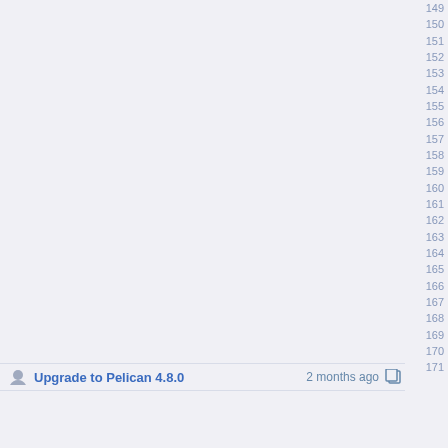Upgrade to Pelican 4.8.0  2 months ago
149 150 151 152 153 154 155 156 157 158 159 160 161 162 163 164 165 166 167 168 169 170 171